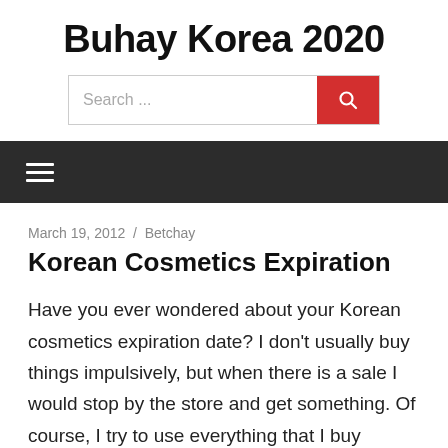Buhay Korea 2020
[Figure (screenshot): Search bar with text 'Search ...' and a red search button with magnifying glass icon]
[Figure (screenshot): Dark navigation bar with hamburger menu icon (three horizontal lines)]
March 19, 2012 / Betchay
Korean Cosmetics Expiration
Have you ever wondered about your Korean cosmetics expiration date? I don't usually buy things impulsively, but when there is a sale I would stop by the store and get something. Of course, I try to use everything that I buy